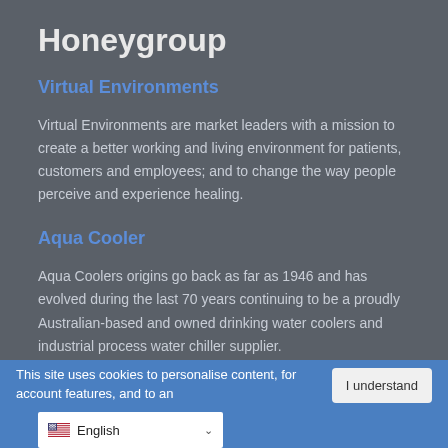Honeygroup
Virtual Environments
Virtual Environments are market leaders with a mission to create a better working and living environment for patients, customers and employees; and to change the way people perceive and experience healing.
Aqua Cooler
Aqua Coolers origins go back as far as 1946 and has evolved during the last 70 years continuing to be a proudly Australian-based and owned drinking water coolers and industrial process water chiller supplier.
This site uses cookies to personalise content, for account features, and to an…
I understand
English